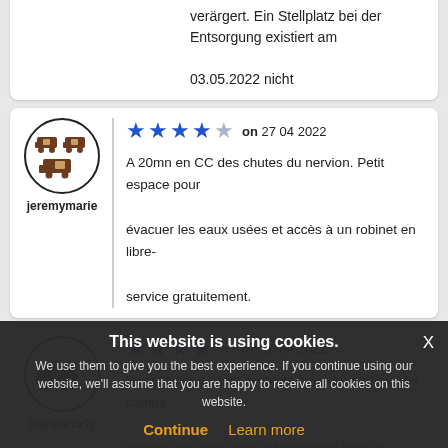verärgert. Ein Stellplatz bei der Entsorgung existiert am 03.05.2022 nicht
[Figure (illustration): Avatar circle icon with motorhome/camper van silhouettes]
jeremymarie
on 27 04 2022
A 20mn en CC des chutes du nervion. Petit espace pour évacuer les eaux usées et accès à un robinet en libre-service gratuitement.
[Figure (illustration): Avatar circle icon with single camper van silhouette]
juankarzx7r
on 10 04 2022
Para vaciar y llenar perfecta para dormir hay una campa pegada que hay autos y furgonetas pero la verdad que ...Gracias al
This website is using cookies. We use them to give you the best experience. If you continue using our website, we'll assume that you are happy to receive all cookies on this website.
Continue  Learn more